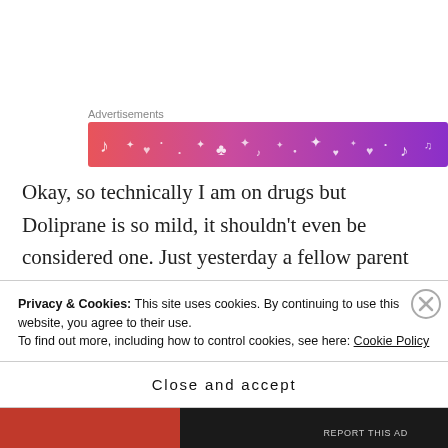Advertisements
[Figure (illustration): A colorful gradient banner advertisement with music note and heart icons on a pink-to-purple gradient background.]
Okay, so technically I am on drugs but Doliprane is so mild, it shouldn't even be considered one. Just yesterday a fellow parent whose daughter is in Rhône's class asked me, “What do you think of the pharmacies here?” I elongated the French word ben, meaning, “Well...” I was stalling. I finally said that they give you a lot of things but that the medicines
Privacy & Cookies: This site uses cookies. By continuing to use this website, you agree to their use.
To find out more, including how to control cookies, see here: Cookie Policy
Close and accept